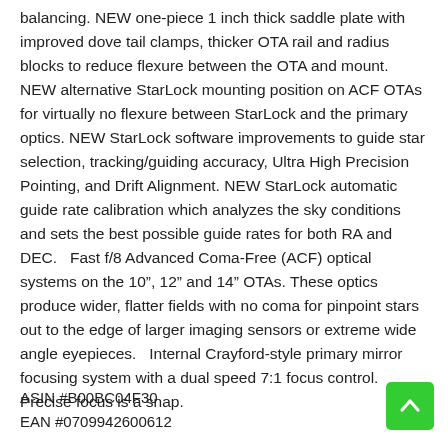balancing. NEW one-piece 1 inch thick saddle plate with improved dove tail clamps, thicker OTA rail and radius blocks to reduce flexure between the OTA and mount. NEW alternative StarLock mounting position on ACF OTAs for virtually no flexure between StarLock and the primary optics. NEW StarLock software improvements to guide star selection, tracking/guiding accuracy, Ultra High Precision Pointing, and Drift Alignment. NEW StarLock automatic guide rate calibration which analyzes the sky conditions and sets the best possible guide rates for both RA and DEC.   Fast f/8 Advanced Coma-Free (ACF) optical systems on the 10", 12" and 14" OTAs. These optics produce wider, flatter fields with no coma for pinpoint stars out to the edge of larger imaging sensors or extreme wide angle eyepieces.   Internal Crayford-style primary mirror focusing system with a dual speed 7:1 focus control. Precise focus is a snap.
ASIN #B00BC04F30
EAN #0709942600612